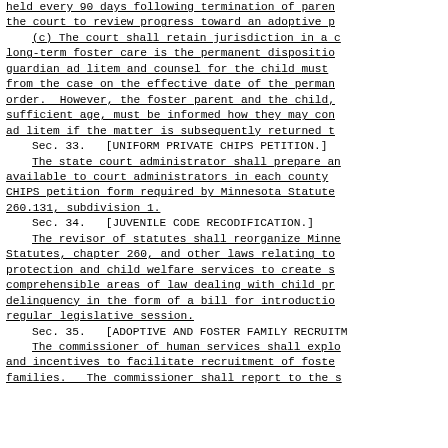held every 90 days following termination of parental rights, the court to review progress toward an adoptive placement.
(c) The court shall retain jurisdiction in a case where long-term foster care is the permanent disposition. The guardian ad litem and counsel for the child must be discharged from the case on the effective date of the permanent disposition order. However, the foster parent and the child, if of sufficient age, must be informed how they may contact the guardian ad litem if the matter is subsequently returned to court.
Sec. 33.  [UNIFORM PRIVATE CHIPS PETITION.]
The state court administrator shall prepare and make available to court administrators in each county a uniform CHIPS petition form required by Minnesota Statute section 260.131, subdivision 1.
Sec. 34.  [JUVENILE CODE RECODIFICATION.]
The revisor of statutes shall reorganize Minnesota Statutes, chapter 260, and other laws relating to child protection and child welfare services to create separate comprehensible areas of law dealing with child protection and delinquency in the form of a bill for introduction at the next regular legislative session.
Sec. 35.  [ADOPTIVE AND FOSTER FAMILY RECRUITMENT.]
The commissioner of human services shall explore methods and incentives to facilitate recruitment of foster and adoptive families. The commissioner shall report to the legislature.